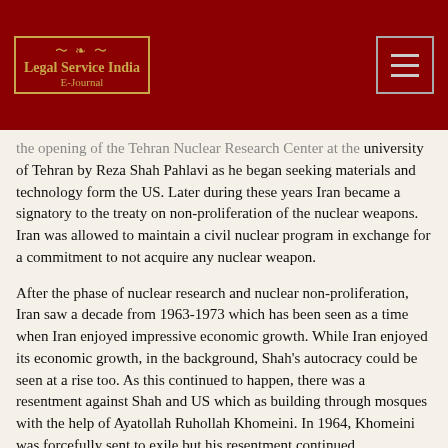Legal Service India E-Journal
the opening of the Tehran Nuclear Research Center at the university of Tehran by Reza Shah Pahlavi as he began seeking materials and technology form the US. Later during these years Iran became a signatory to the treaty on non-proliferation of the nuclear weapons. Iran was allowed to maintain a civil nuclear program in exchange for a commitment to not acquire any nuclear weapon.
After the phase of nuclear research and nuclear non-proliferation, Iran saw a decade from 1963-1973 which has been seen as a time when Iran enjoyed impressive economic growth. While Iran enjoyed its economic growth, in the background, Shah's autocracy could be seen at a rise too. As this continued to happen, there was a resentment against Shah and US which as building through mosques with the help of Ayatollah Ruhollah Khomeini. In 1964, Khomeini was forcefully sent to exile but his resentment continued.
Following this decade came one of the turning points in the